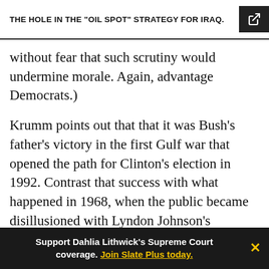THE HOLE IN THE "OIL SPOT" STRATEGY FOR IRAQ.
without fear that such scrutiny would undermine morale. Again, advantage Democrats.)
Krumm points out that that it was Bush's father's victory in the first Gulf war that opened the path for Clinton's election in 1992. Contrast that success with what happened in 1968, when the public became disillusioned with Lyndon Johnson's Vietnam War. They didn't turn to an antiwar Democrat. They turned to Richard Nixon and his "secret plan." Similarly, if Americans today sour on the Bush Iraq project, are they going to turn to
Support Dahlia Lithwick's Supreme Court coverage. Join Slate Plus today.